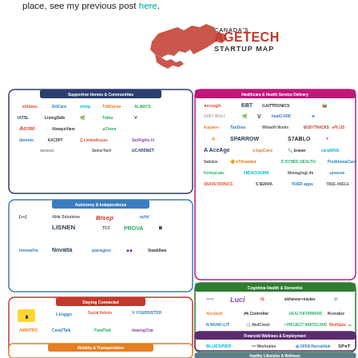place, see my previous post here.
[Figure (infographic): Canada's AgeTech Startup Map showing logos of Canadian agetech startups organized into categories: Supportive Homes & Communities, Autonomy & Independence, Staying Connected, Mobility & Transportation, Healthcare & Health Service Delivery, Cognitive Health & Dementia, Financial Wellness & Employment, Healthy Lifestyles & Wellness. Features a red Canada map silhouette.]